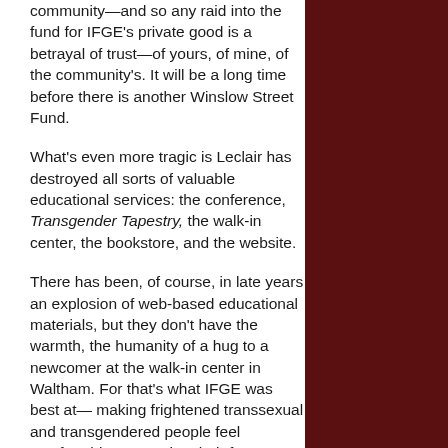community—and so any raid into the fund for IFGE's private good is a betrayal of trust—of yours, of mine, of the community's. It will be a long time before there is another Winslow Street Fund.
What's even more tragic is Leclair has destroyed all sorts of valuable educational services: the conference, Transgender Tapestry, the walk-in center, the bookstore, and the website.
There has been, of course, in late years an explosion of web-based educational materials, but they don't have the warmth, the humanity of a hug to a newcomer at the walk-in center in Waltham. For that's what IFGE was best at— making frightened transsexual and transgendered people feel comfortable, assuaging their fears, letting